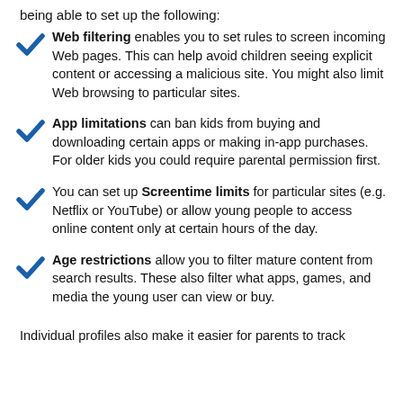being able to set up the following:
Web filtering enables you to set rules to screen incoming Web pages. This can help avoid children seeing explicit content or accessing a malicious site. You might also limit Web browsing to particular sites.
App limitations can ban kids from buying and downloading certain apps or making in-app purchases. For older kids you could require parental permission first.
You can set up Screentime limits for particular sites (e.g. Netflix or YouTube) or allow young people to access online content only at certain hours of the day.
Age restrictions allow you to filter mature content from search results. These also filter what apps, games, and media the young user can view or buy.
Individual profiles also make it easier for parents to track